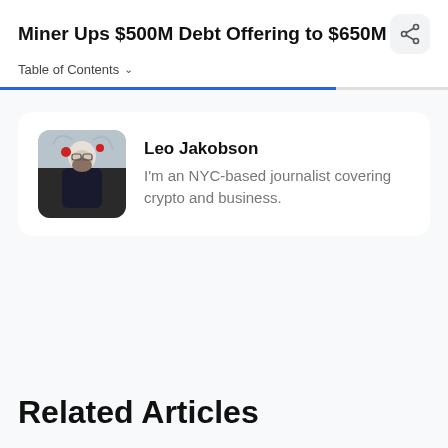Miner Ups $500M Debt Offering to $650M
Table of Contents
[Figure (photo): Author photo of Leo Jakobson, a bearded man wearing dark clothing, photographed outdoors in winter]
Leo Jakobson
I'm an NYC-based journalist covering crypto and business.
Related Articles